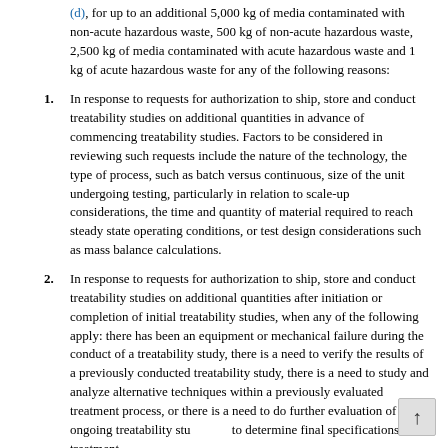(d), for up to an additional 5,000 kg of media contaminated with non-acute hazardous waste, 500 kg of non-acute hazardous waste, 2,500 kg of media contaminated with acute hazardous waste and 1 kg of acute hazardous waste for any of the following reasons:
1. In response to requests for authorization to ship, store and conduct treatability studies on additional quantities in advance of commencing treatability studies. Factors to be considered in reviewing such requests include the nature of the technology, the type of process, such as batch versus continuous, size of the unit undergoing testing, particularly in relation to scale-up considerations, the time and quantity of material required to reach steady state operating conditions, or test design considerations such as mass balance calculations.
2. In response to requests for authorization to ship, store and conduct treatability studies on additional quantities after initiation or completion of initial treatability studies, when any of the following apply: there has been an equipment or mechanical failure during the conduct of a treatability study, there is a need to verify the results of a previously conducted treatability study, there is a need to study and analyze alternative techniques within a previously evaluated treatment process, or there is a need to do further evaluation of an ongoing treatability study to determine final specifications for treatment.